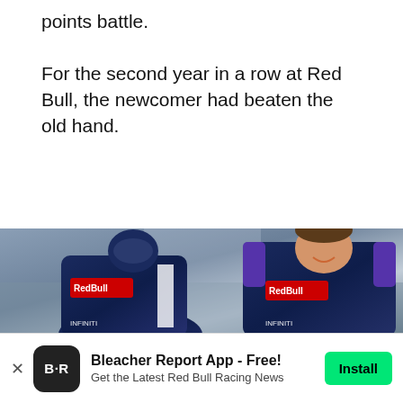points battle.
For the second year in a row at Red Bull, the newcomer had beaten the old hand.
[Figure (photo): Two Red Bull Formula 1 drivers in navy and red Red Bull racing suits standing together. The driver on the right is smiling/laughing broadly. Both wear Red Bull and INFINITI branded race suits.]
Bleacher Report App - Free! Get the Latest Red Bull Racing News Install